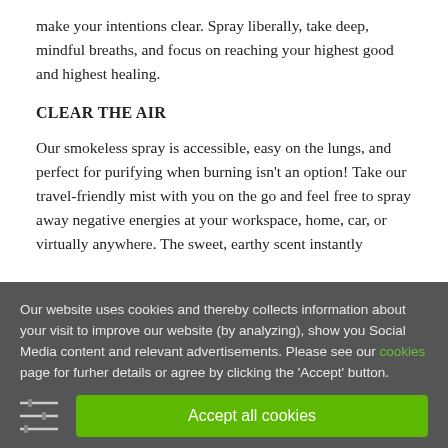make your intentions clear. Spray liberally, take deep, mindful breaths, and focus on reaching your highest good and highest healing.
CLEAR THE AIR
Our smokeless spray is accessible, easy on the lungs, and perfect for purifying when burning isn't an option! Take our travel-friendly mist with you on the go and feel free to spray away negative energies at your workspace, home, car, or virtually anywhere. The sweet, earthy scent instantly
Our website uses cookies and thereby collects information about your visit to improve our website (by analyzing), show you Social Media content and relevant advertisements. Please see our cookies page for furher details or agree by clicking the 'Accept' button.
Accept all cookies